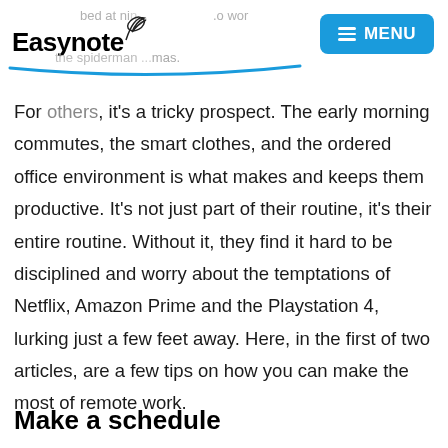Easynote
For others, it's a tricky prospect. The early morning commutes, the smart clothes, and the ordered office environment is what makes and keeps them productive. It's not just part of their routine, it's their entire routine. Without it, they find it hard to be disciplined and worry about the temptations of Netflix, Amazon Prime and the Playstation 4, lurking just a few feet away. Here, in the first of two articles, are a few tips on how you can make the most of remote work.
Make a schedule